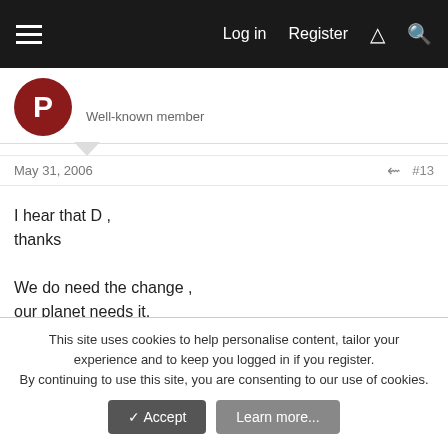Log in  Register
Well-known member
May 31, 2006  #13
I hear that D ,
thanks

We do need the change ,
our planet needs it,
Gov's worldwide out of touch .
The people who got moved out of their old family home in Shanghai because developers are in a face race with Beijing are angry , Beijingers having already lost quite a bit of their old homes/neighborhoods .
This site uses cookies to help personalise content, tailor your experience and to keep you logged in if you register.
By continuing to use this site, you are consenting to our use of cookies.